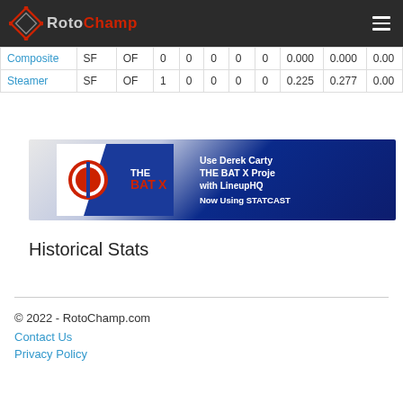RotoChamp
| Composite | SF | OF | 0 | 0 | 0 | 0 | 0 | 0.000 | 0.000 | 0.00 |
| Steamer | SF | OF | 1 | 0 | 0 | 0 | 0 | 0.225 | 0.277 | 0.00 |
[Figure (illustration): THE BAT X banner advertisement with logo and text: Use Derek Carty THE BAT X Proje with LineupHQ Now Using STATCAST]
Historical Stats
© 2022 - RotoChamp.com
Contact Us
Privacy Policy